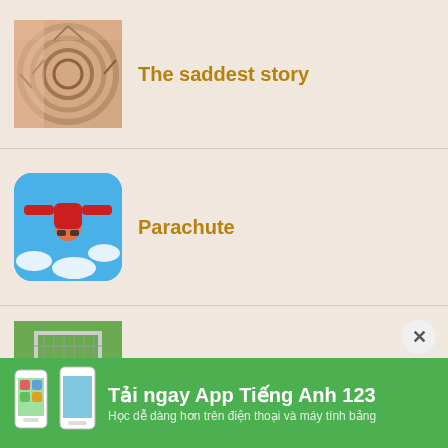The saddest story
[Figure (photo): Spiral staircase viewed from above, warm pinkish-beige tones]
Parachute
[Figure (photo): Person skydiving upside down with blue sky and clouds background, rounded thumbnail]
Lonely Child
[Figure (photo): Child near a football goal net on a field]
Tải ngay App Tiếng Anh 123
Học dễ dàng hơn trên điện thoại và máy tính bảng